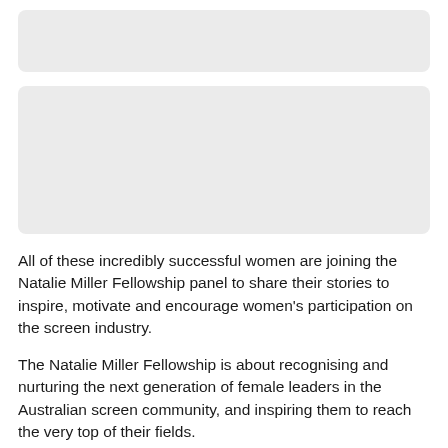[Figure (other): Grey placeholder box (image content not visible)]
[Figure (other): Grey placeholder box (image content not visible)]
All of these incredibly successful women are joining the Natalie Miller Fellowship panel to share their stories to inspire, motivate and encourage women's participation on the screen industry.
The Natalie Miller Fellowship is about recognising and nurturing the next generation of female leaders in the Australian screen community, and inspiring them to reach the very top of their fields.
The event will conclude with a networking function including